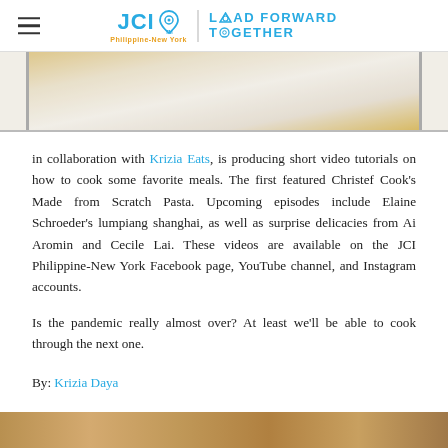JCI Philippine-New York — LEAD FORWARD TOGETHER
[Figure (photo): Partial view of a plate of food, cropped from the top of the page]
in collaboration with Krizia Eats, is producing short video tutorials on how to cook some favorite meals. The first featured Christef Cook's Made from Scratch Pasta. Upcoming episodes include Elaine Schroeder's lumpiang shanghai, as well as surprise delicacies from Ai Aromin and Cecile Lai. These videos are available on the JCI Philippine-New York Facebook page, YouTube channel, and Instagram accounts.
Is the pandemic really almost over? At least we'll be able to cook through the next one.
By: Krizia Daya
[Figure (photo): Partial view of food dish, cropped at the bottom of the page]